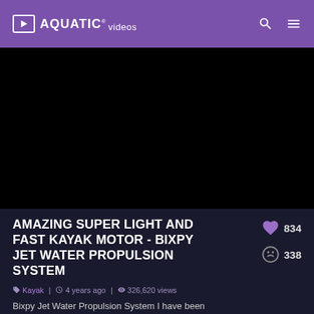AQUATIC® videos
[Figure (screenshot): Black video player area showing a dark/blank video]
AMAZING SUPER LIGHT AND FAST KAYAK MOTOR - BIXPY JET WATER PROPULSION SYSTEM
Kayak | 4 years ago | 326,620 views | 834 likes | 338 dislikes
Bixpy Jet Water Propulsion System I have been waiting for a motor like this, something that is
SHOW MORE